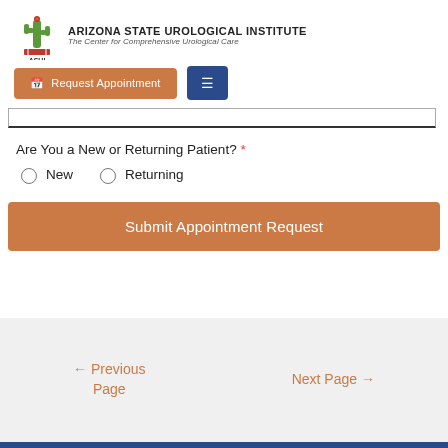[Figure (logo): Arizona State Urological Institute logo with cactus graphic and ASUI text]
ARIZONA STATE UROLOGICAL INSTITUTE
The Center for Comprehensive Urological Care
[Figure (screenshot): Request Appointment button (orange) and hamburger menu button (blue)]
Are You a New or Returning Patient? *
New
Returning
Submit Appointment Request
← Previous Page    Next Page →